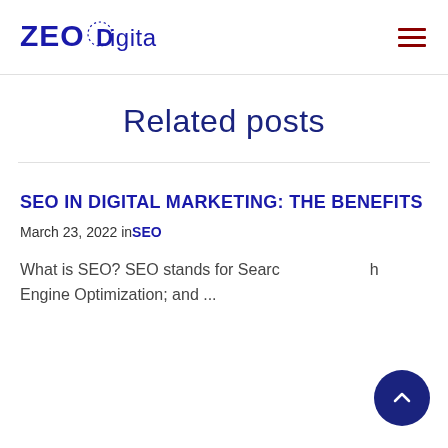[Figure (logo): ZEO Digital logo with dotted circular O and blue text]
Related posts
SEO IN DIGITAL MARKETING: THE BENEFITS
March 23, 2022 in SEO
What is SEO? SEO stands for Search Engine Optimization; and ...